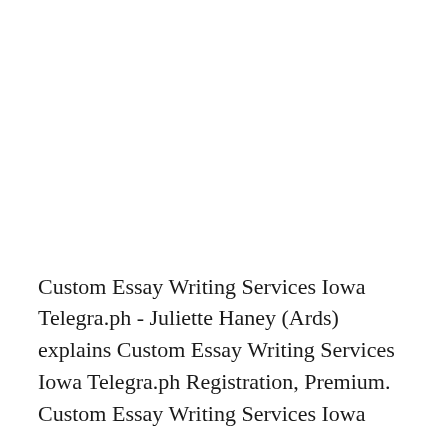Custom Essay Writing Services Iowa Telegra.ph - Juliette Haney (Ards) explains Custom Essay Writing Services Iowa Telegra.ph Registration, Premium. Custom Essay Writing Services Iowa